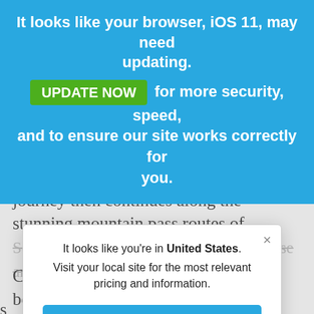It looks like your browser, iOS 11, may need updating.
UPDATE NOW for more security, speed, and to ensure our site works correctly for you.
mountain area in the east, past Norway's highest peak, Galdhøpiggen. The journey then continues along the stunning mountain pass routes of Sognefjellsveien and Aurlandsfiellet. These are
[Figure (screenshot): Modal dialog box with close button (×), text 'It looks like you're in United States. Visit your local site for the most relevant pricing and information.' and a blue 'Switch to United States' button.]
Church full of wood, dragons, and beauty.